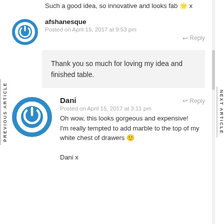Such a good idea, so innovative and looks fab 🌟 x
[Figure (logo): Blue circular power button icon avatar for afshanesque]
afshanesque
Posted on April 15, 2017 at 9:53 pm
Reply
Thank you so much for loving my idea and finished table.
[Figure (logo): Blue circular power button icon avatar for Dani]
Dani
Posted on April 15, 2017 at 3:11 pm
Reply
Oh wow, this looks gorgeous and expensive!
I'm really tempted to add marble to the top of my white chest of drawers 🙂
Dani x